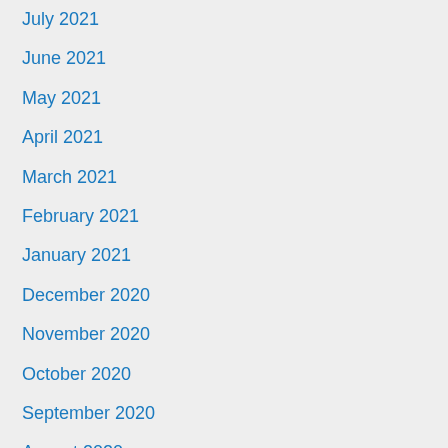July 2021
June 2021
May 2021
April 2021
March 2021
February 2021
January 2021
December 2020
November 2020
October 2020
September 2020
August 2020
July 2020
June 2020
January 2019